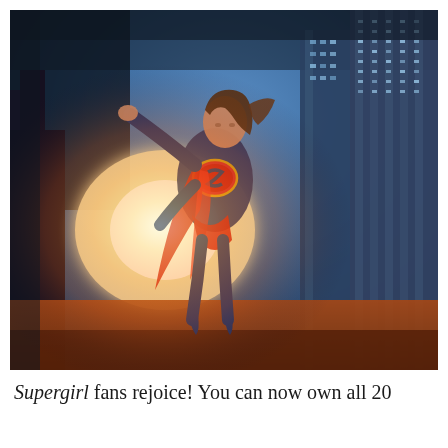[Figure (photo): Promotional photo of Supergirl character in blue and red costume with Superman 'S' shield emblem, flying upward with one arm extended, set against a dramatic urban skyline with warm orange sunset glow and tall glass skyscrapers in background]
Supergirl fans rejoice! You can now own all 20